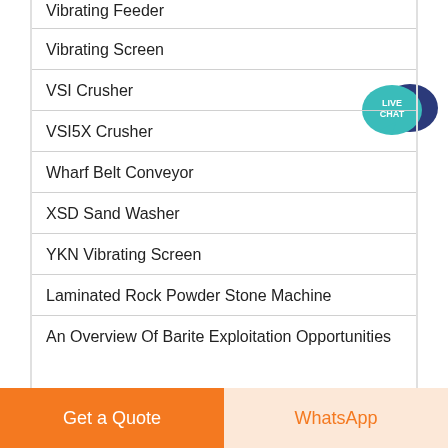Vibrating Feeder
Vibrating Screen
VSI Crusher
VSI5X Crusher
Wharf Belt Conveyor
XSD Sand Washer
YKN Vibrating Screen
Laminated Rock Powder Stone Machine
An Overview Of Barite Exploitation Opportunities
[Figure (illustration): Live Chat speech bubble icon — teal circular badge with 'LIVE CHAT' text and a dark blue speech bubble behind it]
Get a Quote
WhatsApp